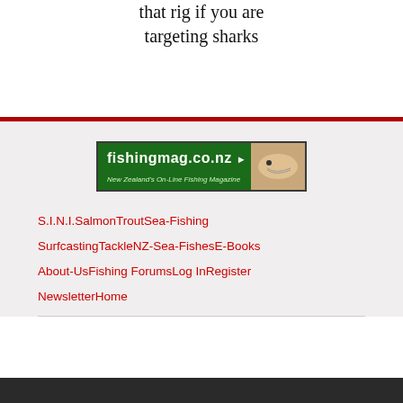that rig if you are targeting sharks
[Figure (logo): fishingmag.co.nz logo — green banner with white text 'fishingmag.co.nz', subtitle 'New Zealand's On-Line Fishing Magazine', fish graphic on right]
S.I.
N.I.
Salmon
Trout
Sea-Fishing
Surfcasting
Tackle
NZ-Sea-Fishes
E-Books
About-Us
Fishing Forums
Log In
Register
Newsletter
Home